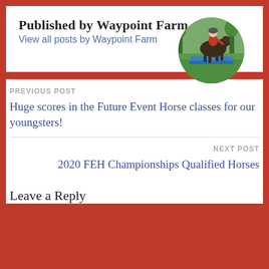Published by Waypoint Farm
View all posts by Waypoint Farm
[Figure (photo): Circular avatar photo of a rider on a horse jumping over a blue obstacle on a green field]
PREVIOUS POST
Huge scores in the Future Event Horse classes for our youngsters!
NEXT POST
2020 FEH Championships Qualified Horses
Leave a Reply